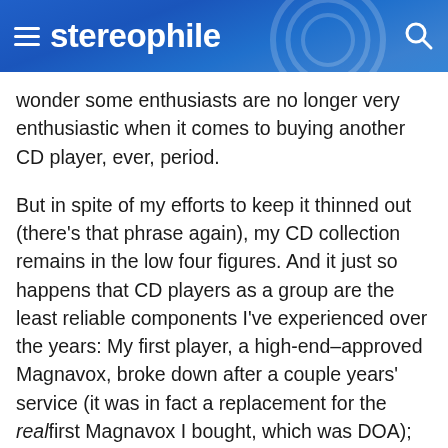stereophile
wonder some enthusiasts are no longer very enthusiastic when it comes to buying another CD player, ever, period.
But in spite of my efforts to keep it thinned out (there's that phrase again), my CD collection remains in the low four figures. And it just so happens that CD players as a group are the least reliable components I've experienced over the years: My first player, a high-end–approved Magnavox, broke down after a couple years' service (it was in fact a replacement for the real first Magnavox I bought, which was DOA); the unit I currently own, a Sony SCD-777 SACD/CD player, has been out of